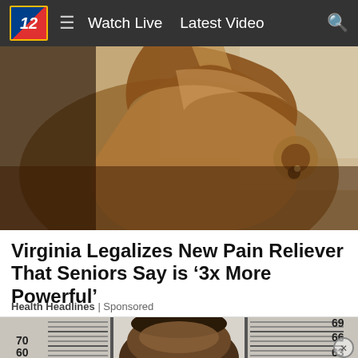12  ≡  Watch Live  Latest Video  🔍
[Figure (photo): Close-up photo of a person tilting their head back, appearing to take something, with warm brown skin tones and a blurred background]
Virginia Legalizes New Pain Reliever That Seniors Say is '3x More Powerful'
Health Headlines | Sponsored
[Figure (photo): Mugshot-style photo of a man standing against a height measurement chart marked with numbers 60, 63, 66, 69, 70 on the sides]